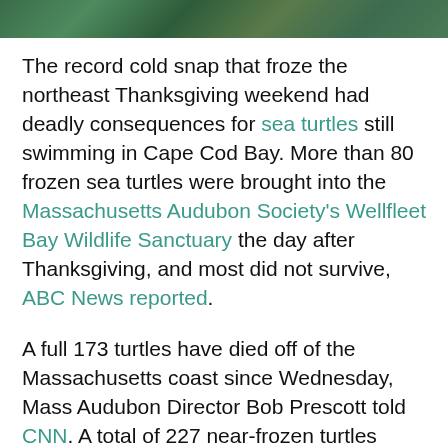[Figure (photo): Dark green textured background image at the top of the page, resembling foliage or leaves.]
The record cold snap that froze the northeast Thanksgiving weekend had deadly consequences for sea turtles still swimming in Cape Cod Bay. More than 80 frozen sea turtles were brought into the Massachusetts Audubon Society's Wellfleet Bay Wildlife Sanctuary the day after Thanksgiving, and most did not survive, ABC News reported.
A full 173 turtles have died off of the Massachusetts coast since Wednesday, Mass Audubon Director Bob Prescott told CNN. A total of 227 near-frozen turtles were brought to the sanctuary over the holiday, but only 54 recovered. In total, more than 400 turtles have washed up on Massachusetts beaches since